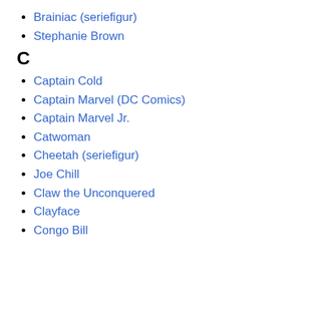Brainiac (seriefigur)
Stephanie Brown
C
Captain Cold
Captain Marvel (DC Comics)
Captain Marvel Jr.
Catwoman
Cheetah (seriefigur)
Joe Chill
Claw the Unconquered
Clayface
Congo Bill